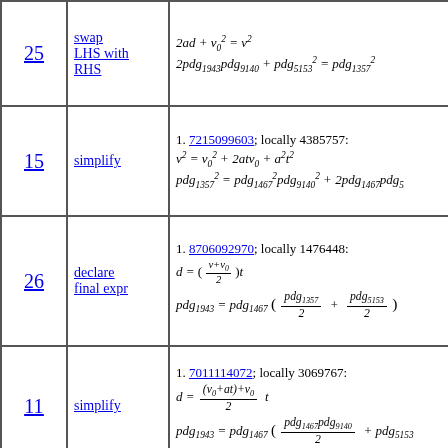| # | Operation | Expression |
| --- | --- | --- |
| 25 | swap LHS with RHS | 2ad + v₀² = v²
2pdg₁₉₄₃pdg₉₁₄₀ + pdg²₅₁₅₃ = pdg²₁₃₅₇ |
| 15 | simplify | 1. 7215099603; locally 4385757:
v² = v₀² + 2atv₀ + a²t²
pdg²₁₃₅₇ = pdg²₁₄₆₇pdg²₉₁₄₀ + 2pdg₁₄₆₇pdg₅... |
| 26 | declare final expr | 1. 8706092970; locally 1476448:
d = ((v+v₀)/2)t
pdg₁₉₄₃ = pdg₁₄₆₇((pdg₁₃₅₇/2) + (pdg₅₁₅₃/2)) |
| 11 | simplify | 1. 7011114072; locally 3069767:
d = ((v₀+at)+v₀)/2 · t
pdg₁₉₄₃ = pdg₁₄₆₇((pdg₁₄₆₇pdg₉₁₄₀/2) + pdg₅₁₅₃...) |
|  | declare |  |